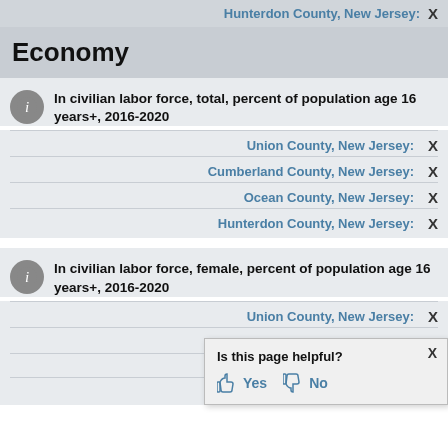Hunterdon County, New Jersey: X
Economy
In civilian labor force, total, percent of population age 16 years+, 2016-2020
Union County, New Jersey: X
Cumberland County, New Jersey: X
Ocean County, New Jersey: X
Hunterdon County, New Jersey: X
In civilian labor force, female, percent of population age 16 years+, 2016-2020
Union County, New Jersey: X
Cumberland County, New Jersey: X
Ocean County, New Jersey: X
Hunterdon County, New Jersey: X
[Figure (other): Tooltip popup asking 'Is this page helpful?' with Yes and No buttons]